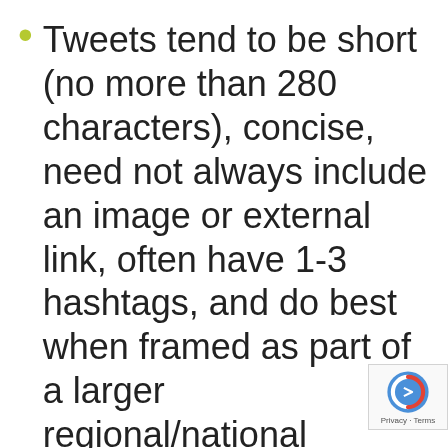Tweets tend to be short (no more than 280 characters), concise, need not always include an image or external link, often have 1-3 hashtags, and do best when framed as part of a larger regional/national dialogue.
Facebook posts can be longer, include only one general hashtag at most, and tend to go best with graphics that depict a story, such...